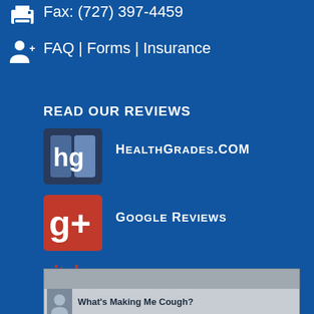Fax: (727) 397-4459
FAQ | Forms | Insurance
READ OUR REVIEWS
[Figure (logo): HealthGrades.com logo - dark blue/gray square with 'hg' in white letters]
HealthGrades.com
[Figure (logo): Google+ logo - red square with white g+ symbol]
Google Reviews
vitals
Popular
What's Making Me Cough?